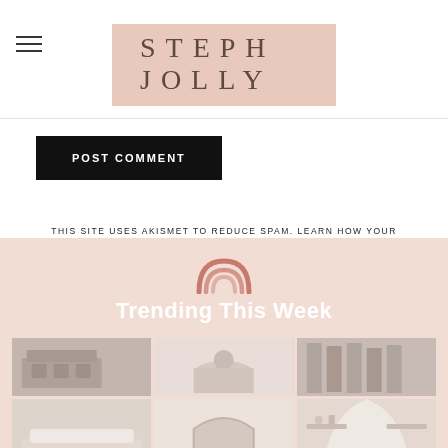STEPH JOLLY
POST COMMENT
THIS SITE USES AKISMET TO REDUCE SPAM. LEARN HOW YOUR COMMENT DATA IS PROCESSED.
Trending This Week
[Figure (photo): Grid of baby/nursery photos including dresser, baby on bed, children's clothing, changing table, shelf with toys, and crib canopy]